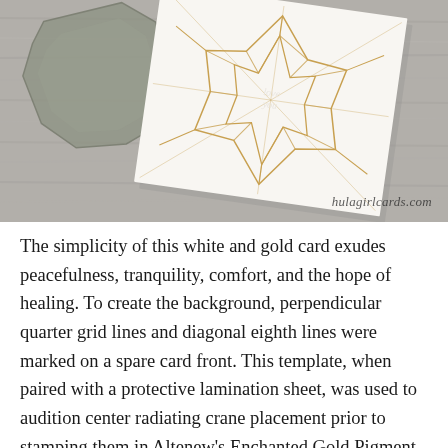[Figure (photo): A photograph of white and gold geometric patterned greeting cards on a grey wood surface, with a clear acrylic stamp/die in the upper left corner. The card features a geometric snowflake/star design in gold. Watermark reads hulagirlcards.com in the lower right.]
The simplicity of this white and gold card exudes peacefulness, tranquility, comfort, and the hope of healing. To create the background, perpendicular quarter grid lines and diagonal eighth lines were marked on a spare card front. This template, when paired with a protective lamination sheet, was used to audition center radiating crane placement prior to stamping them in Altenew's Enchanted Gold Pigment Ink on the card front